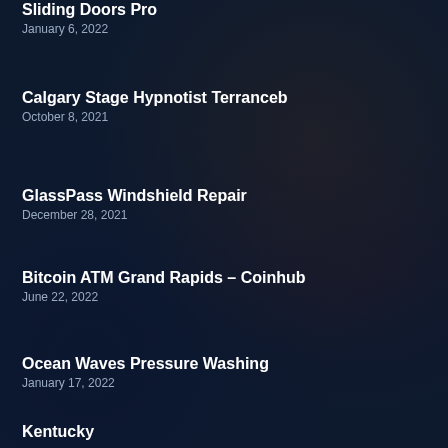Sliding Doors Pro
January 6, 2022
Calgary Stage Hypnotist Terranceb
October 8, 2021
GlassPass Windshield Repair
December 28, 2021
Bitcoin ATM Grand Rapids – Coinhub
June 22, 2022
Ocean Waves Pressure Washing
January 17, 2022
Kentucky